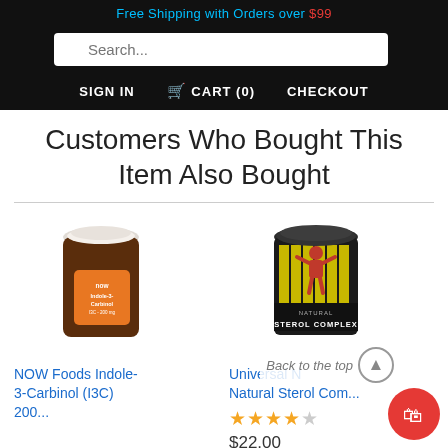Free Shipping with Orders over $99
Search...
SIGN IN  CART (0)  CHECKOUT
Customers Who Bought This Item Also Bought
[Figure (photo): NOW Foods Indole-3-Carbinol supplement bottle]
NOW Foods Indole-3-Carbinol (I3C) 200...
[Figure (photo): Universal Natural Sterol Complex supplement container]
Universal Natural Sterol Com...
★★★★☆
$22.00